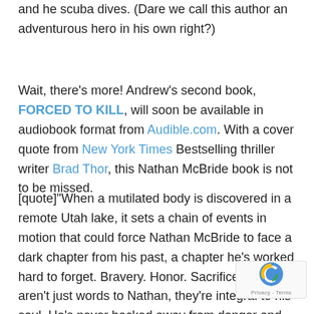and he scuba dives. (Dare we call this author an adventurous hero in his own right?)
Wait, there's more! Andrew's second book, FORCED TO KILL, will soon be available in audiobook format from Audible.com. With a cover quote from New York Times Bestselling thriller writer Brad Thor, this Nathan McBride book is not to be missed.
[quote]"When a mutilated body is discovered in a remote Utah lake, it sets a chain of events in motion that could force Nathan McBride to face a dark chapter from his past, a chapter he's worked hard to forget. Bravery. Honor. Sacrifice. They aren't just words to Nathan, they're integral to his soul. He's never backed away from danger and he's not about to start now, even if it means confronting the man who tormented him to the brink of insanity during a botched mission over a decade ago. But the stakes are higher than he